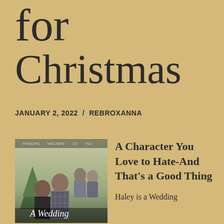for Christmas
JANUARY 2, 2022 / REBROXANNA
[Figure (photo): Movie poster for 'A Wedding' showing a couple and other characters in front of a Christmas tree background]
A Character You Love to Hate-And That's a Good Thing
Haley is a Wedding